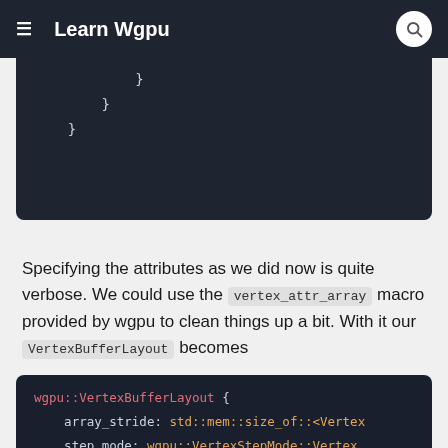≡  Learn Wgpu  🔍
}
    }
}
Specifying the attributes as we did now is quite verbose. We could use the vertex_attr_array macro provided by wgpu to clean things up a bit. With it our VertexBufferLayout becomes
wgpu::VertexBufferLayout {
    array_stride: std::mem::size_of::<Vertex
    step_mode: wgpu::VertexStepMode::Vertex,
    attributes: &wgpu::vertex_attr_array![0